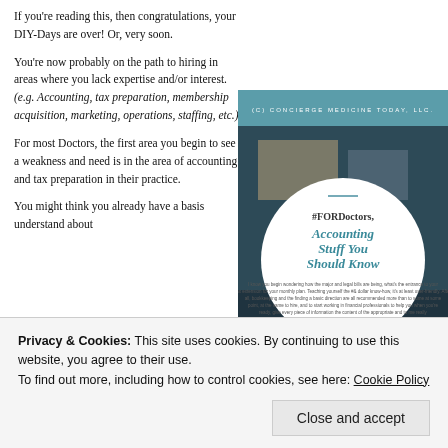If you’re reading this, then congratulations, your DIY-Days are over! Or, very soon.
You’re now probably on the path to hiring in areas where you lack expertise and/or interest. (e.g. Accounting, tax preparation, membership acquisition, marketing, operations, staffing, etc.).
[Figure (photo): Book/guide cover image with teal background and white circle overlay. Text in circle: '#FORDoctors, Accounting Stuff You Should Know' with subtitle text below. Header reads: (c) CONCIERGE MEDICINE TODAY, LLC.]
For most Doctors, the first area you begin to see a weakness and need is in the area of accounting and tax preparation in their practice.
You might think you already have a basis understand about
Privacy & Cookies: This site uses cookies. By continuing to use this website, you agree to their use.
To find out more, including how to control cookies, see here: Cookie Policy
Close and accept